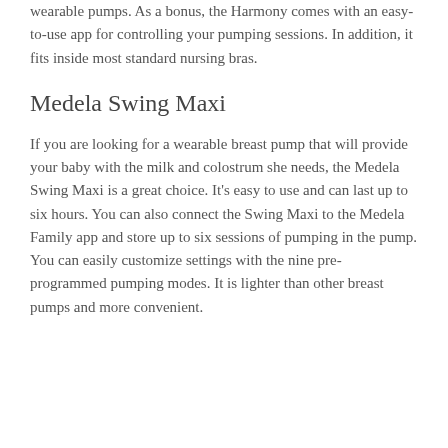wearable pumps. As a bonus, the Harmony comes with an easy-to-use app for controlling your pumping sessions. In addition, it fits inside most standard nursing bras.
Medela Swing Maxi
If you are looking for a wearable breast pump that will provide your baby with the milk and colostrum she needs, the Medela Swing Maxi is a great choice. It's easy to use and can last up to six hours. You can also connect the Swing Maxi to the Medela Family app and store up to six sessions of pumping in the pump. You can easily customize settings with the nine pre-programmed pumping modes. It is lighter than other breast pumps and more convenient.